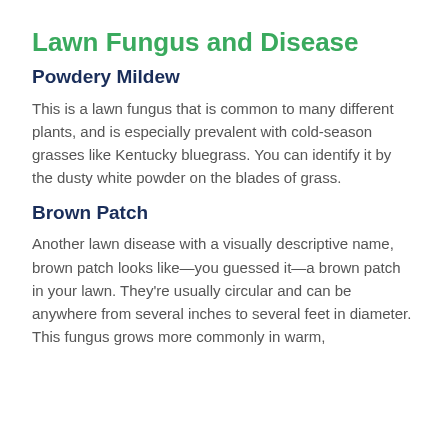Lawn Fungus and Disease
Powdery Mildew
This is a lawn fungus that is common to many different plants, and is especially prevalent with cold-season grasses like Kentucky bluegrass. You can identify it by the dusty white powder on the blades of grass.
Brown Patch
Another lawn disease with a visually descriptive name, brown patch looks like—you guessed it—a brown patch in your lawn. They're usually circular and can be anywhere from several inches to several feet in diameter. This fungus grows more commonly in warm,